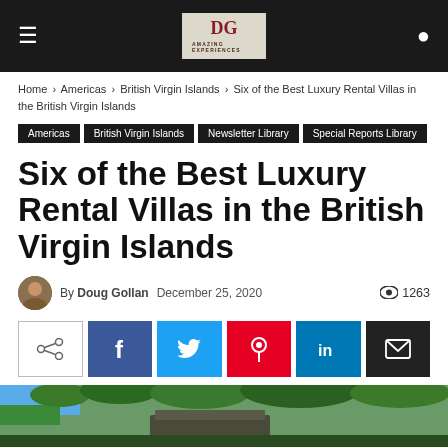DG Amazing Experiences
Home › Americas › British Virgin Islands › Six of the Best Luxury Rental Villas in the British Virgin Islands
Americas
British Virgin Islands
Newsletter Library
Special Reports Library
Six of the Best Luxury Rental Villas in the British Virgin Islands
By Doug Gollan  December 25, 2020  1263
[Figure (other): Social share buttons: share, Facebook, Twitter, Pinterest, LinkedIn, Email]
[Figure (photo): Aerial or hillside photo of a luxury villa surrounded by tropical vegetation in the British Virgin Islands, with blue ocean visible]